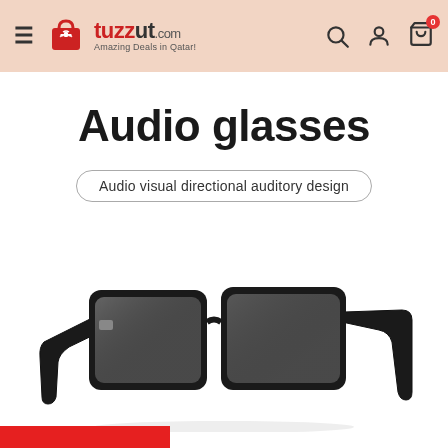tuzzut.com — Amazing Deals in Qatar!
Audio glasses
Audio visual directional auditory design
[Figure (photo): Black audio smart sunglasses with thick frames and slightly wide temples, shown at an angle on a white background]
[Figure (other): Red decorative bar at bottom left]